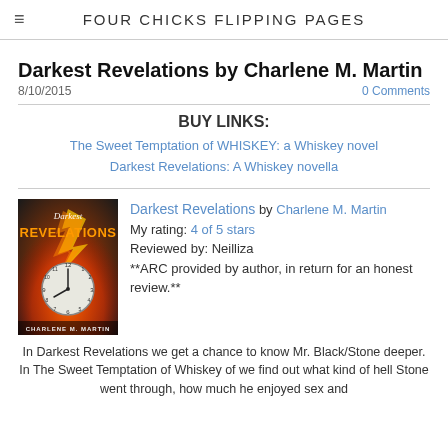FOUR CHICKS FLIPPING PAGES
Darkest Revelations by Charlene M. Martin
8/10/2015   0 Comments
BUY LINKS:
The Sweet Temptation of WHISKEY: a Whiskey novel
Darkest Revelations: A Whiskey novella
[Figure (photo): Book cover for Darkest Revelations by Charlene M. Martin, showing a clock face with fire/lightning effects]
Darkest Revelations by Charlene M. Martin
My rating: 4 of 5 stars
Reviewed by: Neilliza
**ARC provided by author, in return for an honest review.**
In Darkest Revelations we get a chance to know Mr. Black/Stone deeper. In The Sweet Temptation of Whiskey of we find out what kind of hell Stone went through, how much he enjoyed sex and